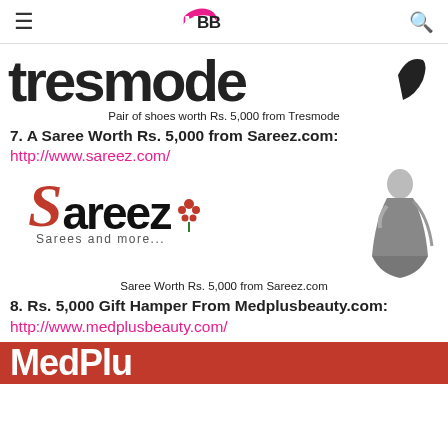IMBB
[Figure (logo): Tresmode brand logo in large stylized text]
Pair of shoes worth Rs. 5,000 from Tresmode
7. A Saree Worth Rs. 5,000 from Sareez.com: http://www.sareez.com/
[Figure (logo): Sareez logo with tagline 'Sarees and more...' and a model in saree]
Saree Worth Rs. 5,000 from Sareez.com
8. Rs. 5,000 Gift Hamper From Medplusbeauty.com: http://www.medplusbeauty.com/
[Figure (logo): MedPlus beauty brand logo on red background]